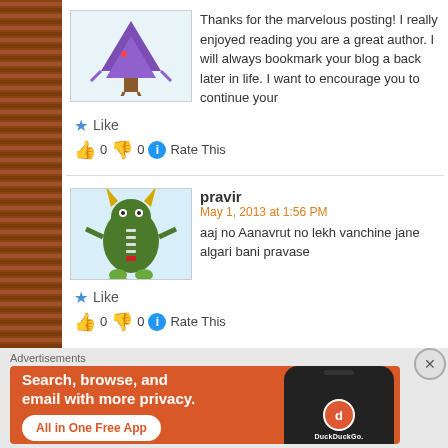Thanks for the marvelous posting! I really enjoyed reading you are a great author. I will always bookmark your blog a back later in life. I want to encourage you to continue your
★ Like
👍 0 👎 0 ℹ Rate This
pravir
May 1, 2013 at 1:56 PM
aaj no Aanavrut no lekh vanchine jane algari bani pravase
★ Like
👍 0 👎 0 ℹ Rate This
Advertisements
[Figure (infographic): DuckDuckGo advertisement banner: orange background with text 'Search, browse, and email with more privacy. All in One Free App' and a phone showing the DuckDuckGo logo]